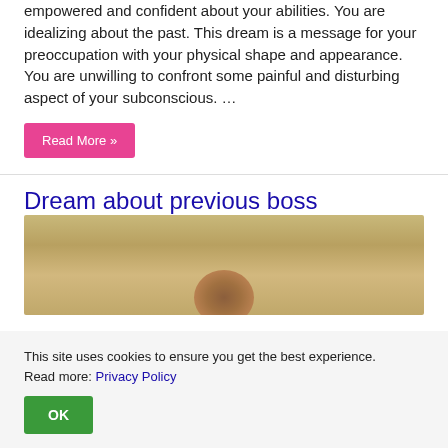empowered and confident about your abilities. You are idealizing about the past. This dream is a message for your preoccupation with your physical shape and appearance. You are unwilling to confront some painful and disturbing aspect of your subconscious. …
Read More »
Dream about previous boss
[Figure (photo): A photo showing a blurry sandy/brown background with a rounded bump or head shape at the bottom center]
This site uses cookies to ensure you get the best experience. Read more: Privacy Policy
OK